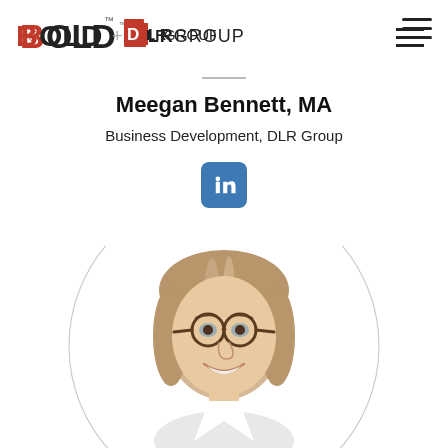[Figure (logo): BOLD DLR Group logo in top left]
[Figure (other): Hamburger menu icon in top right]
Meegan Bennett, MA
Business Development, DLR Group
[Figure (logo): LinkedIn icon button]
[Figure (photo): Professional headshot photo of Meegan Bennett, a woman with brown hair and glasses, smiling, shown in a circular frame]